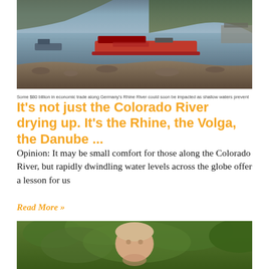[Figure (photo): River scene with a red cargo ship/barge on calm water, rocky shoreline in foreground, wooded hillside in background]
Some $80 billion in economic trade along Germany's Rhine River could soon be impacted as shallow waters prevent
It's not just the Colorado River drying up. It's the Rhine, the Volga, the Danube ...
Opinion: It may be small comfort for those along the Colorado River, but rapidly dwindling water levels across the globe offer a lesson for us
Read More »
[Figure (photo): Close-up portrait of a person outdoors with green foliage/trees in background]